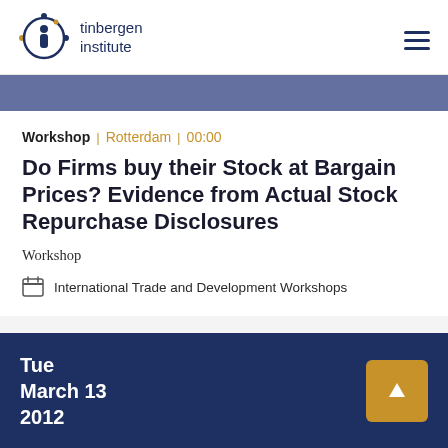tinbergen institute
Workshop | Rotterdam | 00:00
Do Firms buy their Stock at Bargain Prices? Evidence from Actual Stock Repurchase Disclosures
Workshop
International Trade and Development Workshops
Tue March 13 2012